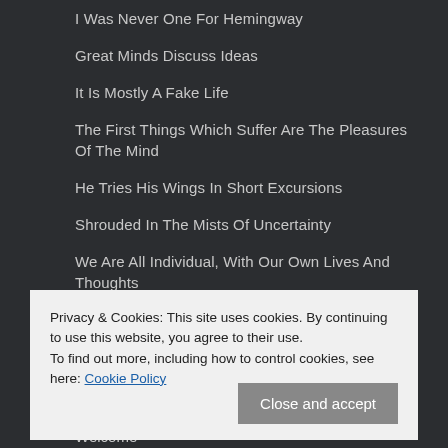I Was Never One For Hemingway
Great Minds Discuss Ideas
It Is Mostly A Fake Life
The First Things Which Suffer Are The Pleasures Of The Mind
He Tries His Wings In Short Excursions
Shrouded In The Mists Of Uncertainty
We Are All Individual, With Our Own Lives And Thoughts
PAGES
Privacy & Cookies: This site uses cookies. By continuing to use this website, you agree to their use.
To find out more, including how to control cookies, see here: Cookie Policy
Welcome